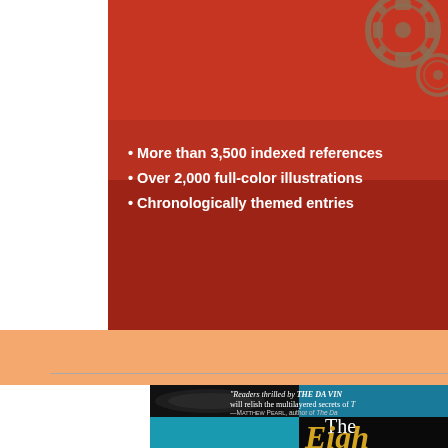[Figure (photo): Top portion of a book cover with dark red/orange background, mechanical gear decorations in upper right, and white bullet points listing features: More than 3,500 indexed references, Over 2,000 full-color illustrations, Chronologically themed entries]
• More than 3,500 indexed references
• Over 2,000 full-color illustrations
• Chronologically themed entries
[Figure (photo): Bottom portion showing cover of 'The Eight' book with teal/blue and black checkered background. Quote: 'Readers thrilled by THE DA VINCI [CODE] will relish the multilayered secrets of T[HE EIGHT]' —Matthew Pearl, author of The Da[Vinci Code]. Large gold text reading 'The Eigh[t]' visible at bottom.]